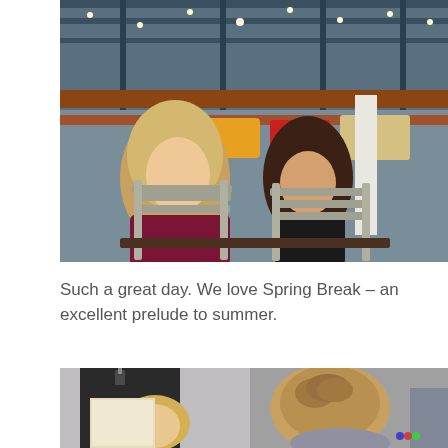[Figure (photo): Two girls sitting at a table in a food court or market hall with string lights and steel/wood ceiling structure. The girl on the left has long blonde hair wearing a maroon top; the girl on the right has dark hair in a bun wearing a black top. Gray wooden chairs visible.]
Such a great day. We love Spring Break – an excellent prelude to summer.
[Figure (photo): Partial photo showing people at what appears to be an art or activity class. A blonde person and another individual with a braided updo are visible from behind, with canvases/boards in front of them.]